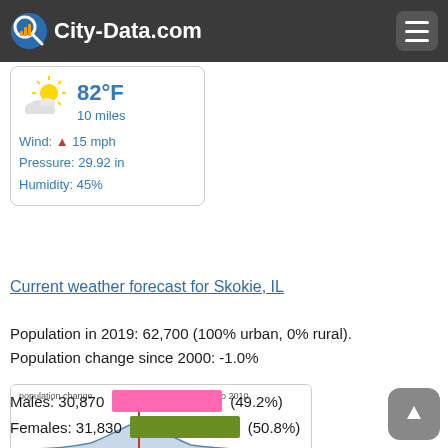City-Data.com
[Figure (infographic): Weather widget showing partly cloudy/sunny icon, 82°F, 10 miles visibility, Wind: 15 mph, Pressure: 29.92 in, Humidity: 45%]
Current weather forecast for Skokie, IL
Population in 2019: 62,700 (100% urban, 0% rural).
Population change since 2000: -1.0%
[Figure (continuous-plot): Population change chart for Skokie IL, 2005 to 2010, x-axis from -20% to +20%, with a small peak near 0%, vertical red line at approximately 0% labeled USA]
Males: 30,870   (49.2%)
Females: 31,830   (50.8%)